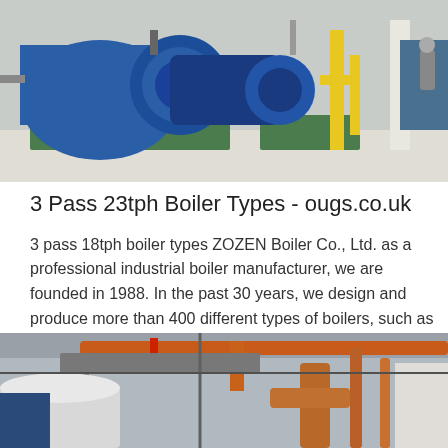[Figure (photo): Industrial boiler room with large blue boilers and yellow gas pipes, workers visible in background]
3 Pass 23tph Boiler Types - ougs.co.uk
3 pass 18tph boiler types ZOZEN Boiler Co., Ltd. as a professional industrial boiler manufacturer, we are founded in 1988. In the past 30 years, we design and produce more than 400 different types of boilers, such as gas-fired and…
Get Price
[Figure (photo): Industrial boiler facility interior with orange and red pipes visible overhead, blue and white industrial equipment]